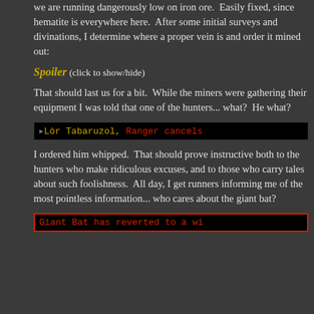we are running dangerously low on iron ore.  Easily fixed, since hematite is everywhere here.  After some initial surveys and divinations, I determine where a proper vein is and order it mined out:
Spoiler (click to show/hide)
That should last us for a bit.  While the miners were gathering their equipment I was told that one of the hunters... what?  He what?
[Figure (screenshot): Game notification bar showing: >Lòr Tabaruzol, Ranger cancels]
I ordered him whipped.  That should prove instructive both to the hunters who make ridiculous excuses, and to those who carry tales about such foolishness.  All day, I get runners informing me of the most pointless information... who cares about the giant bat?
[Figure (screenshot): Game notification bar with red border showing: Giant Bat has reverted to a wi]